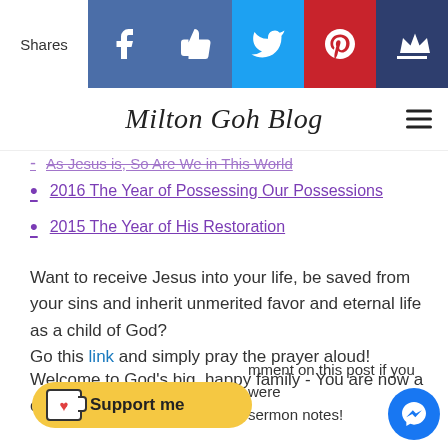Shares | Facebook | Like | Twitter | Pinterest | Crown
Milton Goh Blog
As Jesus is, So Are We in This World
2016 The Year of Possessing Our Possessions
2015 The Year of His Restoration
Want to receive Jesus into your life, be saved from your sins and inherit unmerited favor and eternal life as a child of God?
Go this link and simply pray the prayer aloud!
Welcome to God's big, happy family - You are now a child of God!
mment on this post if you were sermon notes!